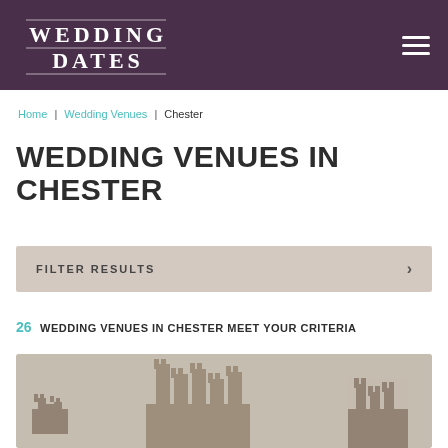Wedding Dates
Home | Wedding Venues | Chester
WEDDING VENUES IN CHESTER
FILTER RESULTS
26 WEDDING VENUES IN CHESTER MEET YOUR CRITERIA
[Figure (photo): Partial view of a wedding venue card showing castle-like stone building]